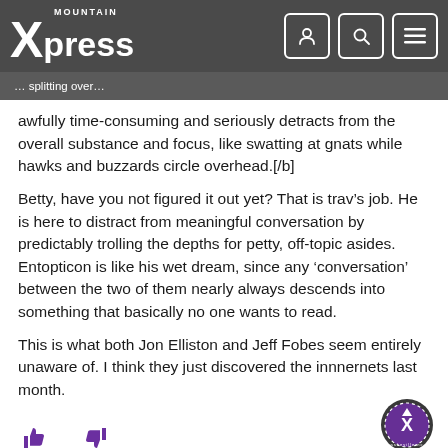Mountain Xpress
awfully time-consuming and seriously detracts from the overall substance and focus, like swatting at gnats while hawks and buzzards circle overhead.[/b]
Betty, have you not figured it out yet? That is trav’s job. He is here to distract from meaningful conversation by predictably trolling the depths for petty, off-topic asides. Entopticon is like his wet dream, since any ‘conversation’ between the two of them nearly always descends into something that basically no one wants to read.
This is what both Jon Elliston and Jeff Fobes seem entirely unaware of. I think they just discovered the innnernets last month.
[Figure (illustration): Thumbs up and thumbs down reaction icons in purple, and a scroll-to-top button (circle with up arrow) in the bottom right]
REPLY